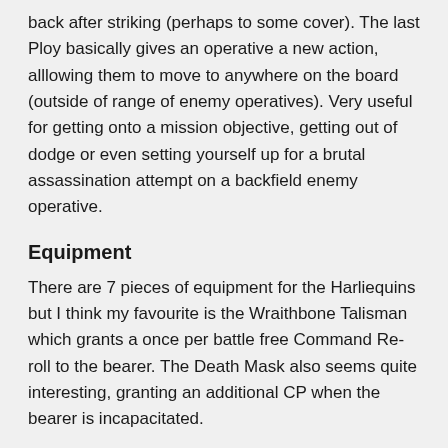back after striking (perhaps to some cover). The last Ploy basically gives an operative a new action, alllowing them to move to anywhere on the board (outside of range of enemy operatives). Very useful for getting onto a mission objective, getting out of dodge or even setting yourself up for a brutal assassination attempt on a backfield enemy operative.
Equipment
There are 7 pieces of equipment for the Harliequins but I think my favourite is the Wraithbone Talisman which grants a once per battle free Command Re-roll to the bearer. The Death Mask also seems quite interesting, granting an additional CP when the bearer is incapacitated.
Orks
Fire Teams